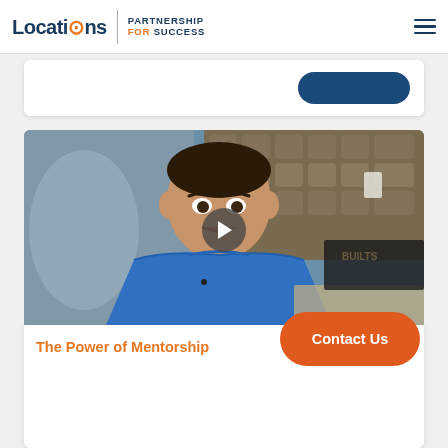Locations | PARTNERSHIP FOR SUCCESS
[Figure (screenshot): Screenshot of a website showing the Locations / Partnership for Success logo in the header, a white card with a blue button, a video thumbnail of a man in a blue shirt in a kitchen setting with a play button overlay, an orange Contact Us button, and a section titled 'The Power of Mentorship']
The Power of Mentorship
Contact Us